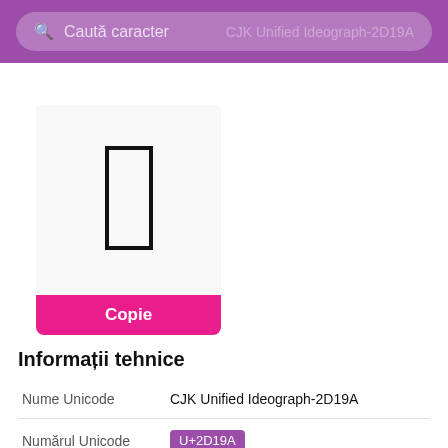🔍 Caută caracter   CJK Unified Ideograph-2D19A
[Figure (other): Large display of a CJK character (rectangular box shape) shown in a light gray display area]
Copie
Informații tehnice
| Field | Value |
| --- | --- |
| Nume Unicode | CJK Unified Ideograph-2D19A |
| Numărul Unicode | U+2D19A |
| HTML-code | &#184730; |
| CSS-cod | \2D19A |
| Bloc | CJK Unified Ideographs Extension F |